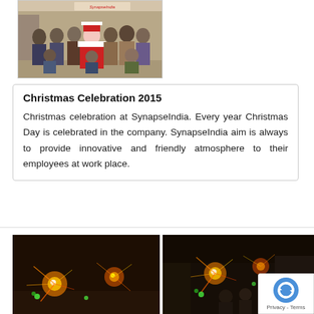[Figure (photo): Group photo of SynapseIndia employees with a person dressed as Santa Claus, taken inside an office. A 'SynapseIndia' sign is visible in the background.]
Christmas Celebration 2015
Christmas celebration at SynapseIndia. Every year Christmas Day is celebrated in the company. SynapseIndia aim is always to provide innovative and friendly atmosphere to their employees at work place.
[Figure (photo): Nighttime fireworks/firecrackers display on the left side of a dark outdoor scene.]
[Figure (photo): Nighttime fireworks/firecrackers display on the right side showing silhouettes of people and a reCAPTCHA badge overlay.]